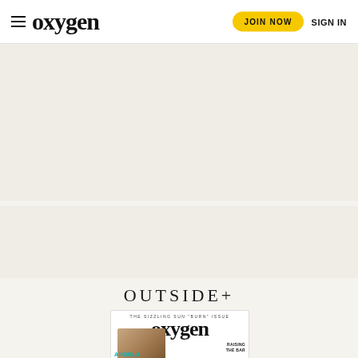oxygen | JOIN NOW | SIGN IN
[Figure (other): Advertisement placeholder area (light beige background)]
[Figure (other): Advertisement placeholder area (light beige background)]
OUTSIDE+
[Figure (photo): Oxygen magazine cover showing 'THE SIZZLING SUN BURN ISSUE' with a woman and text 'ANGELA' and 'RAISING THE BAR']